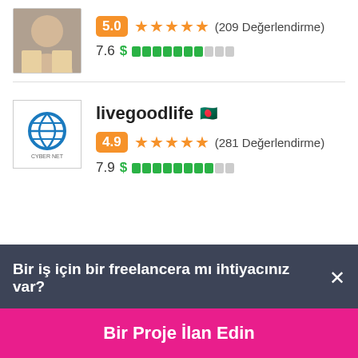[Figure (photo): Partial profile photo of a person (top of listing, cropped)]
5.0 ★★★★★ (209 Değerlendirme)
7.6 $ ██████████
[Figure (logo): Cyber Net company logo — circular icon with globe/network graphic, text CYBER NET below]
livegoodlife 🇧🇩
4.9 ★★★★★ (281 Değerlendirme)
7.9 $ ██████████
Bir iş için bir freelancera mı ihtiyacınız var? ×
Bir Proje İlan Edin